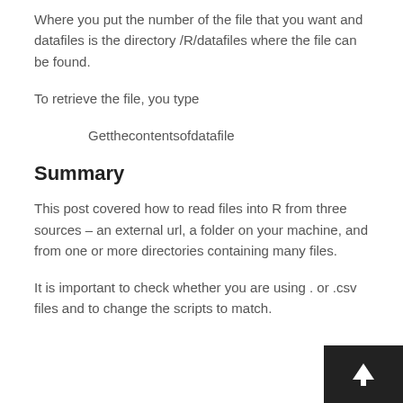Where you put the number of the file that you want and datafiles is the directory /R/datafiles where the file can be found.
To retrieve the file, you type
Getthecontentsofdatafile
Summary
This post covered how to read files into R from three sources – an external url, a folder on your machine, and from one or more directories containing many files.
It is important to check whether you are using . or .csv files and to change the scripts to match.